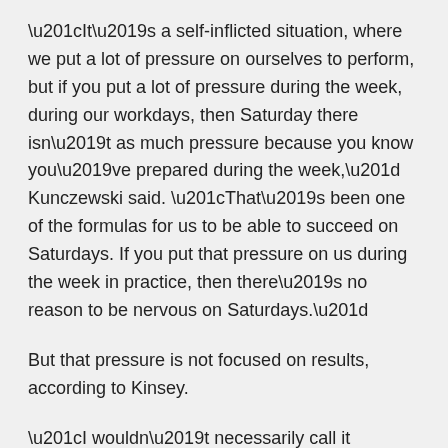“It’s a self-inflicted situation, where we put a lot of pressure on ourselves to perform, but if you put a lot of pressure during the week, during our workdays, then Saturday there isn’t as much pressure because you know you’ve prepared during the week,” Kunczewski said. “That’s been one of the formulas for us to be able to succeed on Saturdays. If you put that pressure on us during the week in practice, then there’s no reason to be nervous on Saturdays.”
But that pressure is not focused on results, according to Kinsey.
“I wouldn’t necessarily call it pressure to win,” Kinsey said. “I would call it pressure to withhold a standard, because we have a winning standard here and we have a way that we do things. And if you don’t want to do things the way we do it then you don’t need to be here.”